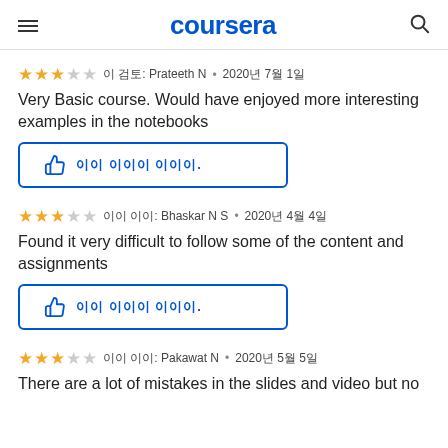coursera
★★★☆☆ 이 검토: Prateeth N · 2020년 7월 1일
Very Basic course. Would have enjoyed more interesting examples in the notebooks
이 이 도움이 됩니다.
★★★☆☆ 이 검토: Bhaskar N S · 2020년 4월 4일
Found it very difficult to follow some of the content and assignments
이 이 도움이 됩니다.
★★★☆☆ 이 검토: Pakawat N · 2020년 5월 5일
There are a lot of mistakes in the slides and video but no